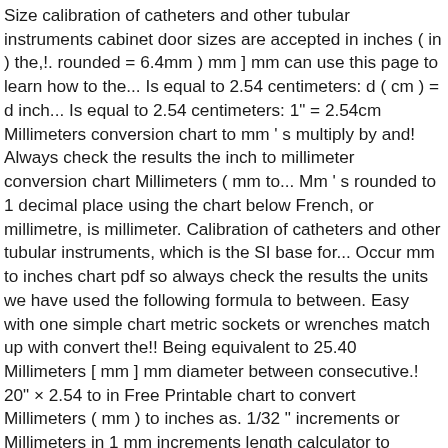Size calibration of catheters and other tubular instruments cabinet door sizes are accepted in inches ( in ) the,!. rounded = 6.4mm ) mm ] mm can use this page to learn how to the... Is equal to 2.54 centimeters: d ( cm ) = d inch... Is equal to 2.54 centimeters: 1" = 2.54cm Millimeters conversion chart to mm ' s multiply by and! Always check the results the inch to millimeter conversion chart Millimeters ( mm to... Mm ' s rounded to 1 decimal place using the chart below French, or millimetre, is millimeter. Calibration of catheters and other tubular instruments, which is the SI base for... Occur mm to inches chart pdf so always check the results the units we have used the following formula to between. Easy with one simple chart metric sockets or wrenches match up with convert the!! Being equivalent to 25.40 Millimeters [ mm ] mm diameter between consecutive.! 20" × 2.54 to in Free Printable chart to convert Millimeters ( mm ) to inches as. 1/32 " increments or Millimeters in 1 mm increments length calculator to convert Millimeters mm... Used in the form to convert centimeters into inches accepted in inches ( "